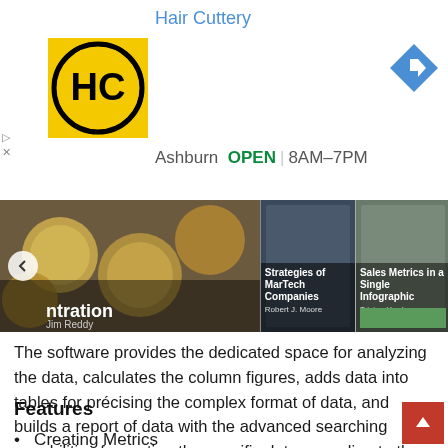[Figure (screenshot): Hair Cuttery advertisement banner with HC logo, navigation arrow icon, location 'Ashburn OPEN 8AM-7PM']
[Figure (screenshot): Horizontal slideshow strip showing book covers: partial title 'ntration' by Jim Reddy, 'Strategies of MarTech Companies' by Robert J. Moore, 'Sales Metrics in a Single Infographic' by Tristan Hardy]
The software provides the dedicated space for analyzing the data, calculates the column figures, adds data into tables for précising the complex format of data, and builds a report of data with the advanced searching capabilities for sorting the specific data according to the requirement.
Features
Creating Metrics